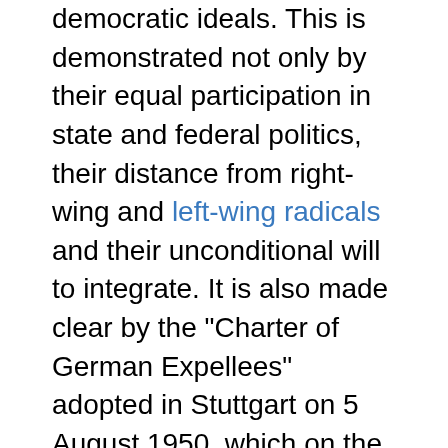democratic ideals. This is demonstrated not only by their equal participation in state and federal politics, their distance from right-wing and left-wing radicals and their unconditional will to integrate. It is also made clear by the "Charter of German Expellees" adopted in Stuttgart on 5 August 1950, which on the one hand held fast to the right to one's homeland, on the other forbade any revenge and retaliation and proclaimed a united Europe as a goal. The Charter was formulated by key representatives of expellees, with the Baltic Germans and Sudeten Germans playing an important role. The Charter was criticised, partly seriously, partly tendentiously, for not commemorating German Nazi crimes and other victims, for renouncing retaliation, which was not granted to the expellees at all, for the fact that most of those responsible for the text had formerly belonged to the NSDAP (Schwartz, Funktionäre, 19-26), and for the fact that the document referred to the Christian Occident and